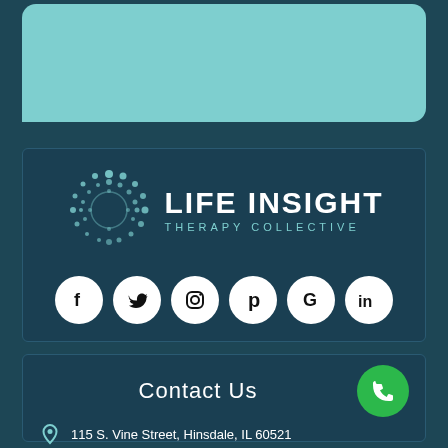[Figure (illustration): Teal speech bubble / chat bubble shape on dark teal background at top of page]
[Figure (logo): Life Insight Therapy Collective logo with circular dotted emblem and text, plus row of social media icons (Facebook, Twitter, Instagram, Pinterest, Google, LinkedIn)]
Contact Us
115 S. Vine Street, Hinsdale, IL 60521
101 Burr Ridge Pkwy, Suite 200, Burr Ridge, IL 60527
Phone: 630-563-0044  |  Fax: 630-914-6054